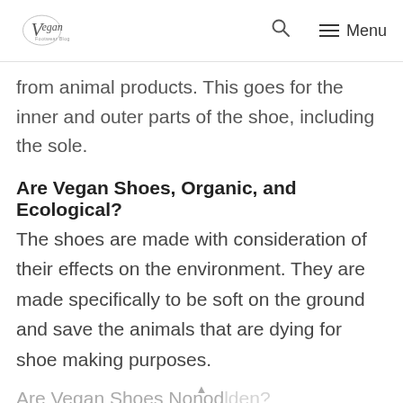Vegan [logo] | Search | Menu
from animal products. This goes for the inner and outer parts of the shoe, including the sole.
Are Vegan Shoes, Organic, and Ecological?
The shoes are made with consideration of their effects on the environment. They are made specifically to be soft on the ground and save the animals that are dying for shoe making purposes.
Are Vegan Shoes Nonod...?